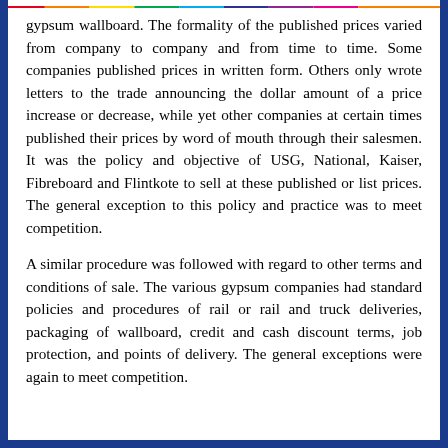gypsum wallboard. The formality of the published prices varied from company to company and from time to time. Some companies published prices in written form. Others only wrote letters to the trade announcing the dollar amount of a price increase or decrease, while yet other companies at certain times published their prices by word of mouth through their salesmen. It was the policy and objective of USG, National, Kaiser, Fibreboard and Flintkote to sell at these published or list prices. The general exception to this policy and practice was to meet competition.
A similar procedure was followed with regard to other terms and conditions of sale. The various gypsum companies had standard policies and procedures of rail or rail and truck deliveries, packaging of wallboard, credit and cash discount terms, job protection, and points of delivery. The general exceptions were again to meet competition.